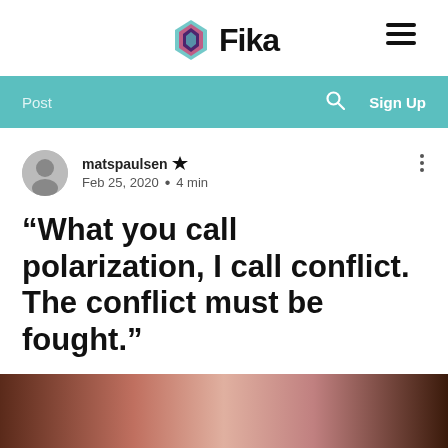[Figure (logo): Fika logo with colorful diamond/shield icon and bold 'Fika' text, plus hamburger menu icon]
Post  🔍  Sign Up
matspaulsen Admin
Feb 25, 2020 · 4 min
“What you call polarization, I call conflict. The conflict must be fought.”
[Figure (photo): Blurred close-up photo of a person's face, dark brown and light tones]